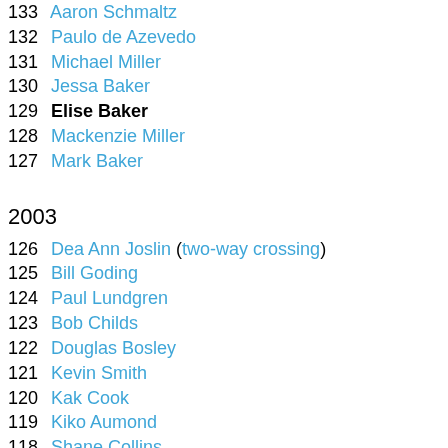133 Aaron Schmaltz
132 Paulo de Azevedo
131 Michael Miller
130 Jessa Baker
129 Elise Baker
128 Mackenzie Miller
127 Mark Baker
2003
126 Dea Ann Joslin (two-way crossing)
125 Bill Goding
124 Paul Lundgren
123 Bob Childs
122 Douglas Bosley
121 Kevin Smith
120 Kak Cook
119 Kiko Aumond
118 Shane Collins
117 John Farrington
116 Rick Avila
115 Carol Sing